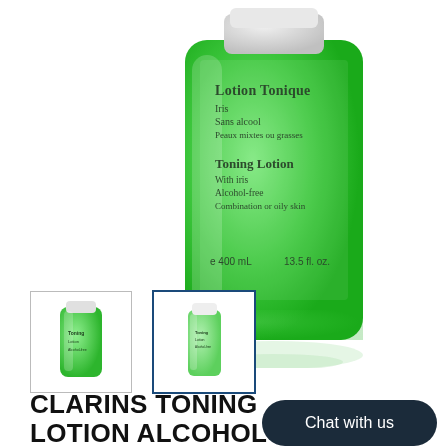[Figure (photo): Clarins Toning Lotion green bottle (400mL / 13.5 fl oz) with iris label, alcohol-free for combination or oily skin, close-up product shot]
[Figure (photo): Thumbnail 1: Clarins Toning Lotion small bottle thumbnail]
[Figure (photo): Thumbnail 2: Clarins Toning Lotion tall bottle thumbnail, selected/active]
CLARINS TONING LOTION ALCOHOL FREE WITH IRIS CLARINS